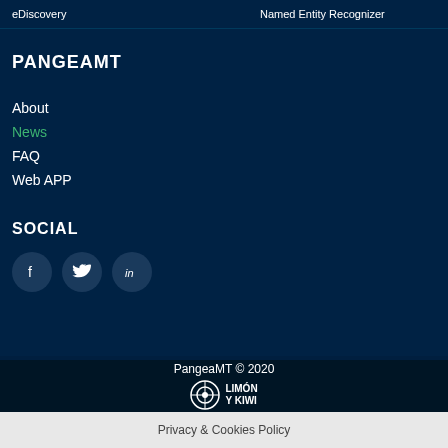eDiscovery    Named Entity Recognizer
PANGEAMT
About
News
FAQ
Web APP
SOCIAL
[Figure (other): Social media icons: Facebook, Twitter, LinkedIn]
PangeaMT © 2020
[Figure (logo): Limón y Kiwi logo with circular icon and text LIMÓN Y KIWI]
Privacy & Cookies Policy